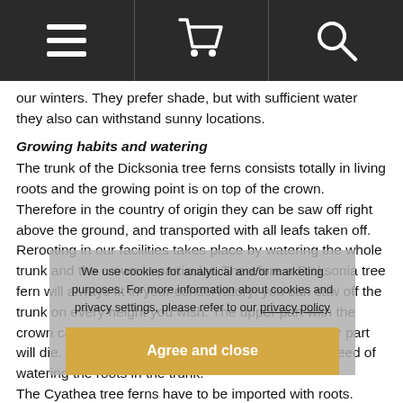[Navigation bar with hamburger menu, cart, and search icons]
our winters. They prefer shade, but with sufficient water they also can withstand sunny locations.
Growing habits and watering
The trunk of the Dicksonia tree ferns consists totally in living roots and the growing point is on top of the crown. Therefore in the country of origin they can be saw off right above the ground, and transported with all leafs taken off. Rerooting in our facilities takes place by watering the whole trunk and the crown in particular. Therefore a Dicksonia tree fern will always fit in your conservatory: you can saw off the trunk on every height you wish. The upper part with the crown can be planted again and will reroot, the lower part will die. After reading this, you will under-stand the need of watering the roots in the trunk.
The Cyathea tree ferns have to be imported with roots. They need their roots underground, as they can only make limited use of the roots in the trunk.
You can assume that you never can water a well rooted tree fern too much, because the water will be carried off along the trunk. As this trunk consists of roots and humus, you need to water all tree
We use cookies for analytical and/or marketing purposes. For more information about cookies and privacy settings, please refer to our privacy policy
Agree and close